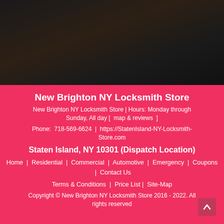[Figure (photo): Dark textured background image (dark wood or similar dark surface) occupying the top portion of the page]
New Brighton NY Locksmith Store
New Brighton NY Locksmith Store | Hours: Monday through Sunday, All day [  map & reviews  ]
Phone:  718-569-6624  |  https://StatenIsland-NY-Locksmith-Store.com
Staten Island, NY 10301 (Dispatch Location)
Home  |  Residential  |  Commercial  |  Automotive  |  Emergency  |  Coupons  |  Contact Us
Terms & Conditions  |  Price List |  Site-Map
Copyright © New Brighton NY Locksmith Store 2016 - 2022. All rights reserved